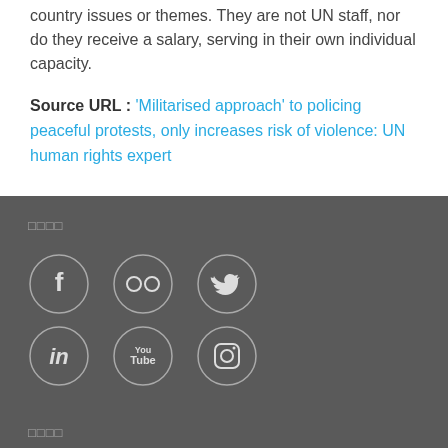country issues or themes. They are not UN staff, nor do they receive a salary, serving in their own individual capacity.
Source URL : 'Militarised approach' to policing peaceful protests, only increases risk of violence: UN human rights expert
[Figure (infographic): Dark grey footer section with social media icons in circles: Facebook, Flickr, Twitter (top row), LinkedIn, YouTube, Instagram (bottom row), with placeholder text labels above and below]
□□□□